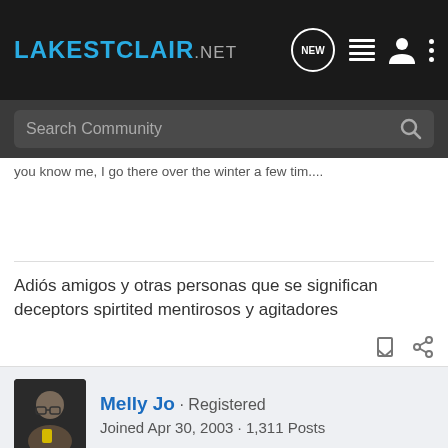LakeStClair.NET
Search Community
you know me, I go there over the winter a few tim....
Adiós amigos y otras personas que se significan deceptors spirtited mentirosos y agitadores
Melly Jo · Registered
Joined Apr 30, 2003 · 1,311 Posts
#6 · Aug 6, 2004
QUOTE(Milord @ Aug 6 2004, 07:58 AM)That does sound like a good time but without a DD, I figure we will stay in the bay all